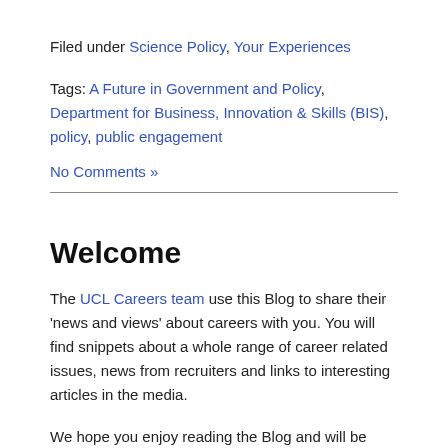Filed under Science Policy, Your Experiences
Tags: A Future in Government and Policy, Department for Business, Innovation & Skills (BIS), policy, public engagement
No Comments »
Welcome
The UCL Careers team use this Blog to share their 'news and views' about careers with you. You will find snippets about a whole range of career related issues, news from recruiters and links to interesting articles in the media.
We hope you enjoy reading the Blog and will be inspired to